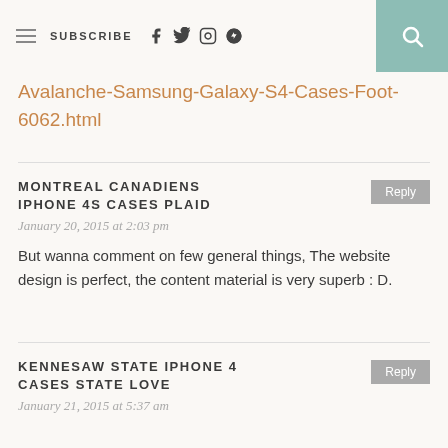SUBSCRIBE
Avalanche-Samsung-Galaxy-S4-Cases-Foot-6062.html
MONTREAL CANADIENS IPHONE 4S CASES PLAID
January 20, 2015 at 2:03 pm
But wanna comment on few general things, The website design is perfect, the content material is very superb : D.
KENNESAW STATE IPHONE 4 CASES STATE LOVE
January 21, 2015 at 5:37 am